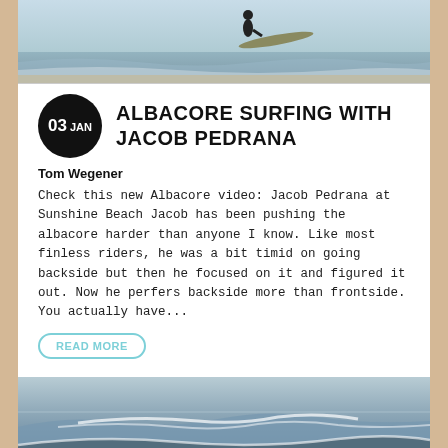[Figure (photo): Photo of a surfer standing at the shoreline holding a surfboard, viewed from behind, with ocean waves in the background]
[Figure (illustration): Date badge circle showing 03 JAN in white text on black background]
ALBACORE SURFING WITH JACOB PEDRANA
Tom Wegener
Check this new Albacore video: Jacob Pedrana at Sunshine Beach Jacob has been pushing the albacore harder than anyone I know. Like most finless riders, he was a bit timid on going backside but then he focused on it and figured it out. Now he perfers backside more than frontside. You actually have...
READ MORE
[Figure (photo): Ocean wave photo showing breaking surf with grey-blue water and white foam]